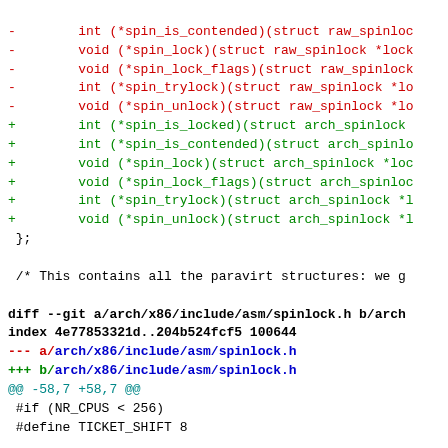Code diff showing changes to Linux kernel spinlock headers and spinlock.h file
-        int (*spin_is_contended)(struct raw_spinloc
-        void (*spin_lock)(struct raw_spinlock *lock
-        void (*spin_lock_flags)(struct raw_spinlock
-        int (*spin_trylock)(struct raw_spinlock *lo
-        void (*spin_unlock)(struct raw_spinlock *lo
+        int (*spin_is_locked)(struct arch_spinlock
+        int (*spin_is_contended)(struct arch_spinlo
+        void (*spin_lock)(struct arch_spinlock *loc
+        void (*spin_lock_flags)(struct arch_spinloc
+        int (*spin_trylock)(struct arch_spinlock *l
+        void (*spin_unlock)(struct arch_spinlock *l
 };

 /* This contains all the paravirt structures: we g
diff --git a/arch/x86/include/asm/spinlock.h b/arch
index 4e77853321d..204b524fcf5 100644
--- a/arch/x86/include/asm/spinlock.h
+++ b/arch/x86/include/asm/spinlock.h
@@ -58,7 +58,7 @@
 #if (NR_CPUS < 256)
 #define TICKET_SHIFT 8

-static __always_inline void __ticket_spin_lock(raw
+static __always_inline void __ticket_spin_lock(arc
 {
         short inc = 0x0100;

@@ -77,7 +77,7 @@ static __always_inline void __tic
         : "memory", "cc");